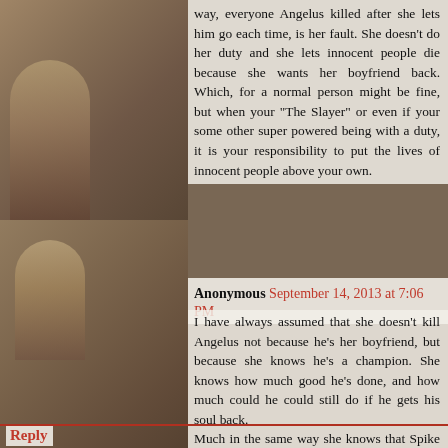[Figure (photo): Background photo of characters from Buffy the Vampire Slayer TV show, showing women in various poses. Photo appears as a muted/overlaid background behind comment text.]
way, everyone Angelus killed after she lets him go each time, is her fault. She doesn't do her duty and she lets innocent people die because she wants her boyfriend back. Which, for a normal person might be fine, but when your "The Slayer" or even if your some other super powered being with a duty, it is your responsibility to put the lives of innocent people above your own.
Anonymous September 14, 2013 at 7:06 PM
I have always assumed that she doesn't kill Angelus not because he's her boyfriend, but because she knows he's a champion. She knows how much good he's done, and how much could he could still do if he gets his soul back.
Much in the same way she knows that Spike could be a good man in season 7. She's The Slayer, she knows stuff.
Reply